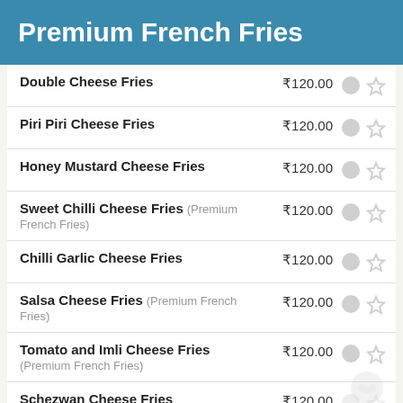Premium French Fries
Double Cheese Fries ₹120.00
Piri Piri Cheese Fries ₹120.00
Honey Mustard Cheese Fries ₹120.00
Sweet Chilli Cheese Fries (Premium French Fries) ₹120.00
Chilli Garlic Cheese Fries ₹120.00
Salsa Cheese Fries (Premium French Fries) ₹120.00
Tomato and Imli Cheese Fries (Premium French Fries) ₹120.00
Schezwan Cheese Fries ₹120.00